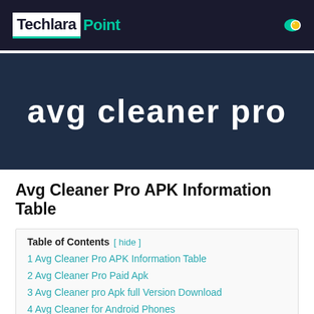Techlara Point
[Figure (logo): AVG Cleaner Pro banner with dark navy background and white bold rounded text]
Avg Cleaner Pro APK Information Table
Table of Contents [ hide ]
1 Avg Cleaner Pro APK Information Table
2 Avg Cleaner Pro Paid Apk
3 Avg Cleaner pro Apk full Version Download
4 Avg Cleaner for Android Phones
5 Avg Cleaner for PC
6 Avg Cleaner For Android